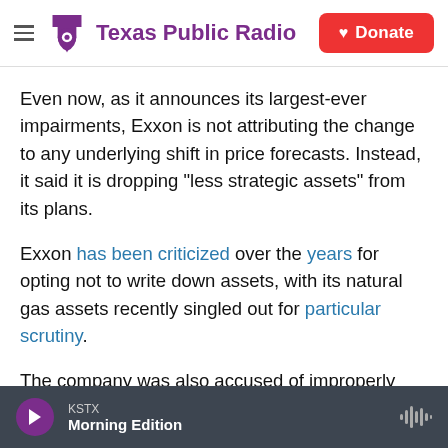Texas Public Radio | Donate
Even now, as it announces its largest-ever impairments, Exxon is not attributing the change to any underlying shift in price forecasts. Instead, it said it is dropping "less strategic assets" from its plans.
Exxon has been criticized over the years for opting not to write down assets, with its natural gas assets recently singled out for particular scrutiny.
The company was also accused of improperly removing climate change risks from business
KSTX  Morning Edition